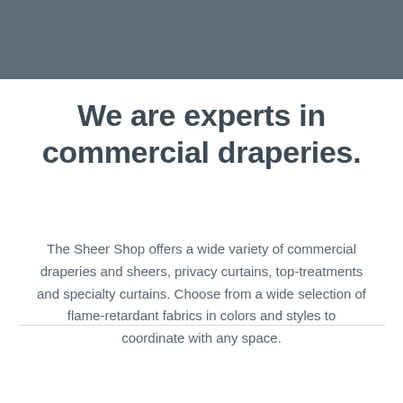We are experts in commercial draperies.
The Sheer Shop offers a wide variety of commercial draperies and sheers, privacy curtains, top-treatments and specialty curtains. Choose from a wide selection of flame-retardant fabrics in colors and styles to coordinate with any space.